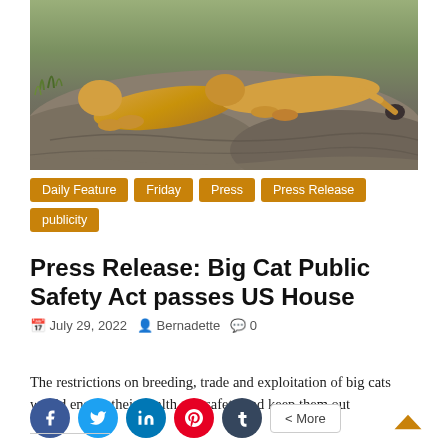[Figure (photo): Two lions resting on rocky surface with some grass visible in the background]
Daily Feature  Friday  Press  Press Release  publicity
Press Release: Big Cat Public Safety Act passes US House
July 29, 2022  Bernadette  0
The restrictions on breeding, trade and exploitation of big cats would ensure their health and safety and keep them out
[Figure (infographic): Social share buttons: Facebook, Twitter, LinkedIn, Pinterest, Tumblr, and More button]